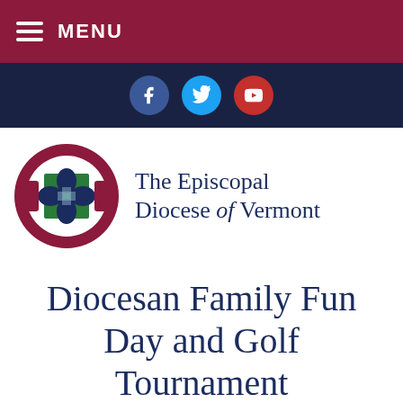MENU
[Figure (other): Social media icons bar: Facebook (blue circle), Twitter (light blue circle), YouTube (red circle)]
[Figure (logo): The Episcopal Diocese of Vermont logo: circular emblem with cross design in green, dark blue, and maroon, beside the organization name]
Diocesan Family Fun Day and Golf Tournament